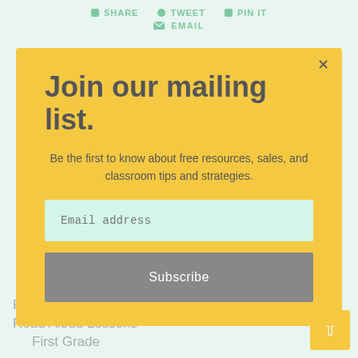SHARE   TWEET   PIN IT   EMAIL
Join our mailing list.
Be the first to know about free resources, sales, and classroom tips and strategies.
Email address
Subscribe
February Interactive Read Aloud Lessons First Grade